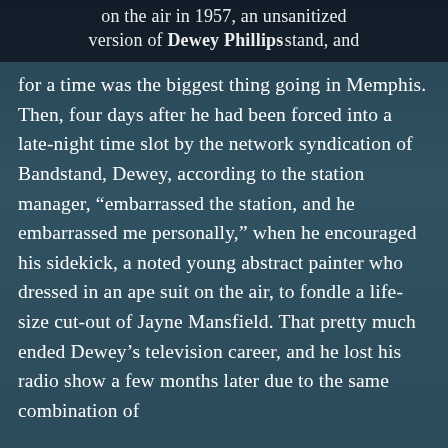on the air in 1957, an unsanitized version of American Bandstand, and
Dewey Phillips
for a time was the biggest thing going in Memphis. Then, four days after he had been forced into a late-night time slot by the network syndication of Bandstand, Dewey, according to the station manager, “embarrassed the station, and he embarrassed me personally,” when he encouraged his sidekick, a noted young abstract painter who dressed in an ape suit on the air, to fondle a life-size cut-out of Jayne Mansfield. That pretty much ended Dewey’s television career, and he lost his radio show a few months later due to the same combination of